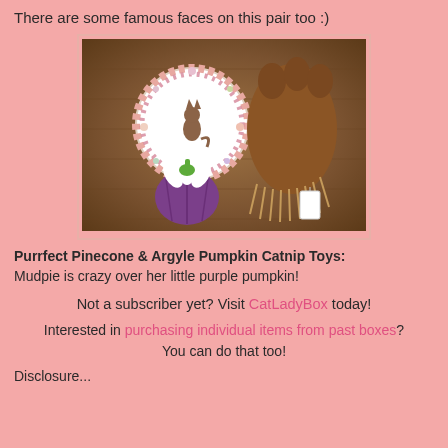There are some famous faces on this pair too :)
[Figure (photo): Photo of two cat toys on carpet: a circular white tag with cat illustration and floral border, a brown furry paw/pinecone toy with fringe, and a small purple pumpkin catnip toy with green stem.]
Purrfect Pinecone & Argyle Pumpkin Catnip Toys:
Mudpie is crazy over her little purple pumpkin!
Not a subscriber yet? Visit CatLadyBox today!
Interested in purchasing individual items from past boxes? You can do that too!
Disclosure...